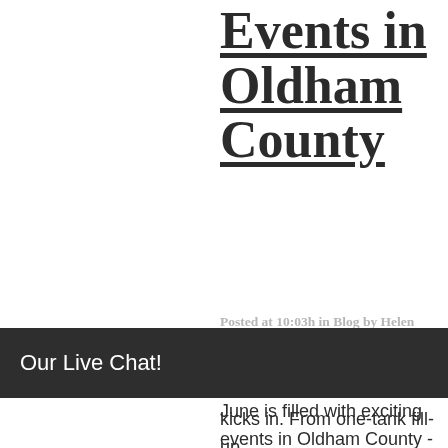Events in Oldham County
Posted at 10:03h in Blog by Helen McKinney · 0 Comments · 0 Likes
June is filled with exciting events in Oldham County - 25 and counting! You won't run out of options for a good time, and you can easily fill a weekend
Our Live Chat!
kicks in. From one-tank fill-up